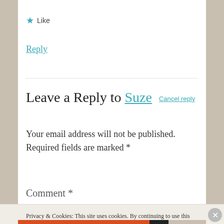★ Like
Reply
Leave a Reply to Suze   Cancel reply
Your email address will not be published. Required fields are marked *
Comment *
Privacy & Cookies: This site uses cookies. By continuing to use this website, you agree to their use. To find out more, including how to control cookies, see here: Cookie Policy
Close and accept